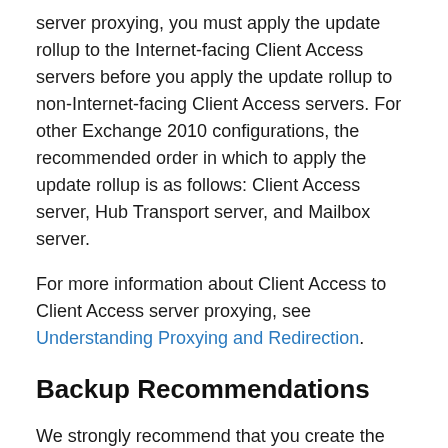server proxying, you must apply the update rollup to the Internet-facing Client Access servers before you apply the update rollup to non-Internet-facing Client Access servers. For other Exchange 2010 configurations, the recommended order in which to apply the update rollup is as follows: Client Access server, Hub Transport server, and Mailbox server.
For more information about Client Access to Client Access server proxying, see Understanding Proxying and Redirection.
Backup Recommendations
We strongly recommend that you create the following backups before you install an update rollup package:
A full backup of all Exchange databases on the server.